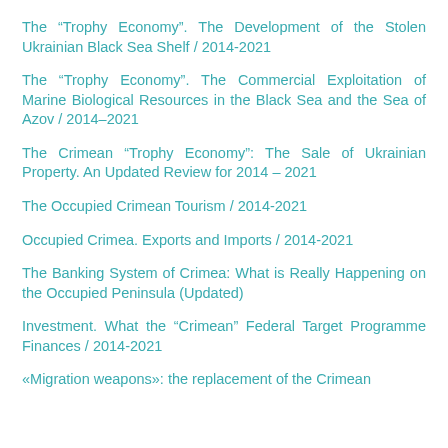The "Trophy Economy". The Development of the Stolen Ukrainian Black Sea Shelf / 2014-2021
The "Trophy Economy". The Commercial Exploitation of Marine Biological Resources in the Black Sea and the Sea of Azov / 2014–2021
The Crimean "Trophy Economy": The Sale of Ukrainian Property. An Updated Review for 2014 – 2021
The Occupied Crimean Tourism / 2014-2021
Occupied Crimea. Exports and Imports / 2014-2021
The Banking System of Crimea: What is Really Happening on the Occupied Peninsula (Updated)
Investment. What the "Crimean" Federal Target Programme Finances / 2014-2021
«Migration weapons»: the replacement of the Crimean